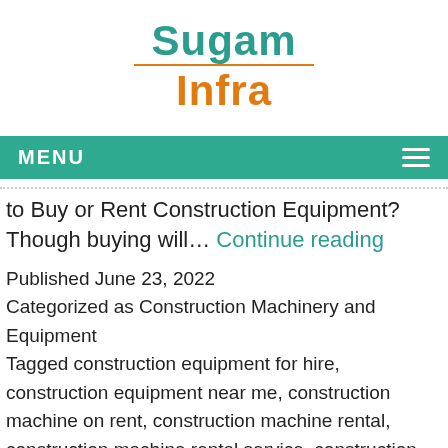[Figure (logo): Sugam Infra logo with teal 'Sugam' text, orange horizontal line, and orange 'Infra' text]
MENU
to Buy or Rent Construction Equipment? Though buying will… Continue reading
Published June 23, 2022
Categorized as Construction Machinery and Equipment
Tagged construction equipment for hire, construction equipment near me, construction machine on rent, construction machine rental, construction machine rental service, construction machinery and equipment, construction machinery hire, heavy construction equipment,